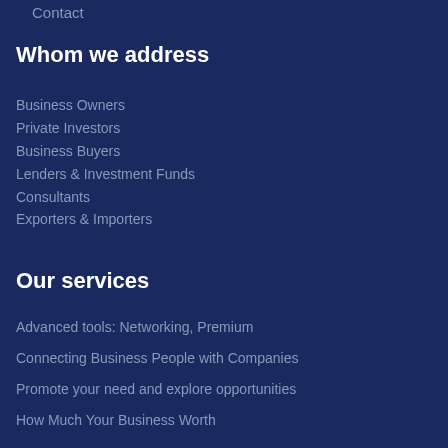Contact
Whom we address
Business Owners
Private Investors
Business Buyers
Lenders & Investment Funds
Consultants
Exporters & Importers
Our services
Advanced tools: Networking, Premium
Connecting Business People with Companies
Promote your need and explore opportunities
How Much Your Business Worth